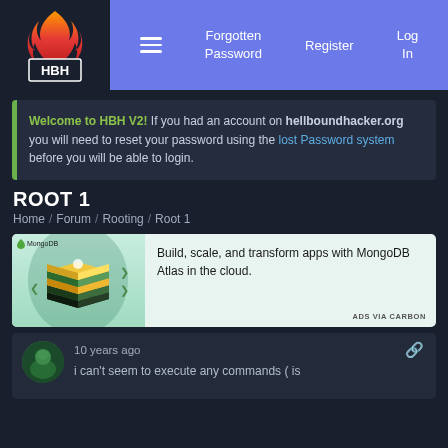[Figure (logo): HBH flame logo with orange and red flame above HBH text in white on dark background]
Forgotten Password   Register   Log In
Welcome to HBH V2! If you had an account on hellboundhacker.org you will need to reset your password using the lost Password system before you will be able to login.
ROOT 1
Home / Forum / Rooting / Root 1
[Figure (illustration): MongoDB advertisement: stacked layered geometric shapes (yellow, green, dark) on light background. Text: Build, scale, and transform apps with MongoDB Atlas in the cloud. ADS VIA CARBON]
10 years ago
i can't seem to execute any commands ( is